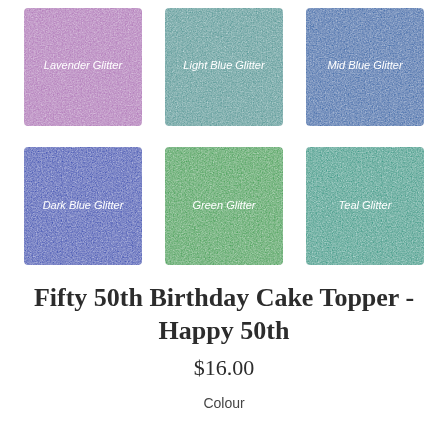[Figure (photo): Grid of 6 glitter color swatches arranged in 2 rows of 3: Lavender Glitter (purple), Light Blue Glitter (teal-blue), Mid Blue Glitter (dark blue), Dark Blue Glitter (bright blue), Green Glitter (green), Teal Glitter (teal-green). Each swatch has a white label in the center.]
Fifty 50th Birthday Cake Topper - Happy 50th
$16.00
Colour